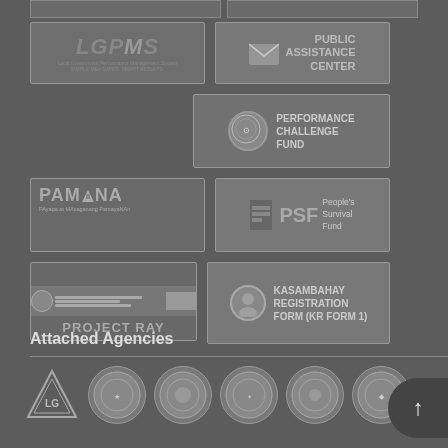[Figure (logo): LGPMS (Local Government Performance Management System) banner - dark grey background with bold italic text]
[Figure (logo): Public Assistance Center banner with envelope icon]
[Figure (logo): Performance Challenge Fund banner with circular seal icon]
[Figure (logo): PAMANA (PAyapa at MAsaganang PamayaNAn) banner]
[Figure (logo): PSF People's Survival Fund banner]
[Figure (logo): Project Ray banner with DILG document image]
[Figure (logo): Kasambahay Registration Form (KR Form 1) banner with female icon]
Attached Agencies
[Figure (logo): Row of attached agency logos/seals: LGA triangle logo, and 5 circular seals of various attached agencies]